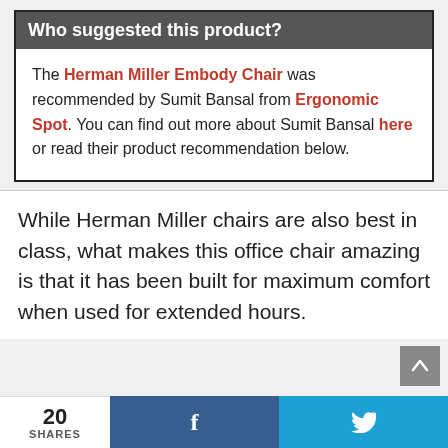Who suggested this product?
The Herman Miller Embody Chair was recommended by Sumit Bansal from Ergonomic Spot. You can find out more about Sumit Bansal here or read their product recommendation below.
While Herman Miller chairs are also best in class, what makes this office chair amazing is that it has been built for maximum comfort when used for extended hours.
20 SHARES  f  🐦